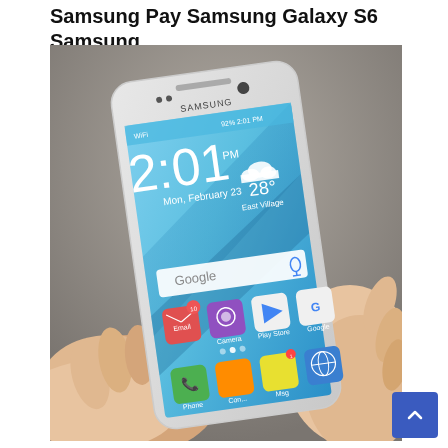Samsung Pay Samsung Galaxy S6 Samsung
[Figure (photo): A hand holding a Samsung Galaxy S6 smartphone showing the lock screen with time 2:01 PM on Monday February 23, weather showing 28 degrees at East Village, and a Google search bar with app icons including Email, Camera, Play Store, Google, Phone, and other apps visible on the home screen.]